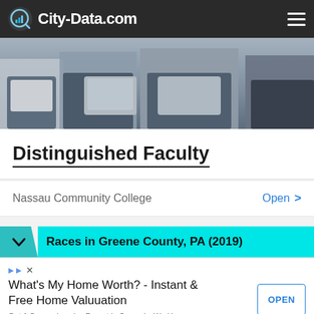City-Data.com
[Figure (photo): Banner photo showing people sitting and working with laptops and tablets, cropped from waist down.]
Distinguished Faculty
Nassau Community College   Open >
Races in Greene County, PA (2019)
What's My Home Worth? - Instant & Free Home Valuuation
Get A Comprehensive Report In Seconds. We Have Thousands Of Active DC Metro Home Buyers. kerishull.com
OPEN